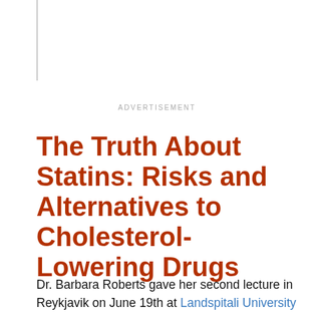ADVERTISEMENT
The Truth About Statins: Risks and Alternatives to Cholesterol-Lowering Drugs
Dr. Barbara Roberts gave her second lecture in Reykjavik on June 19th at Landspitali University Hospital. Again she did a wonderful job with a highly informative and provocative talk. Unfortunately, only about 40 people attended, among them only a handful of cardiologists. I know doctors are